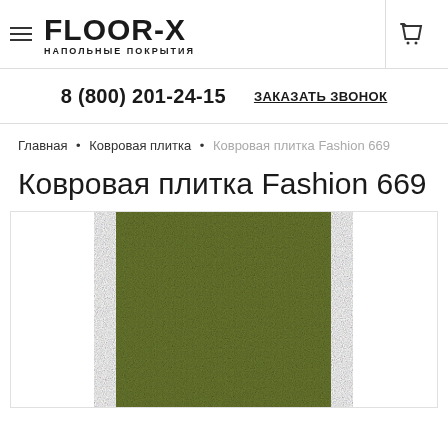FLOOR-X НАПОЛЬНЫЕ ПОКРЫТИЯ
8 (800) 201-24-15   ЗАКАЗАТЬ ЗВОНОК
Главная • Ковровая плитка • Ковровая плитка Fashion 669
Ковровая плитка Fashion 669
[Figure (photo): Close-up photo of olive/dark green carpet tile texture with woven fabric pattern — Ковровая плитка Fashion 669]